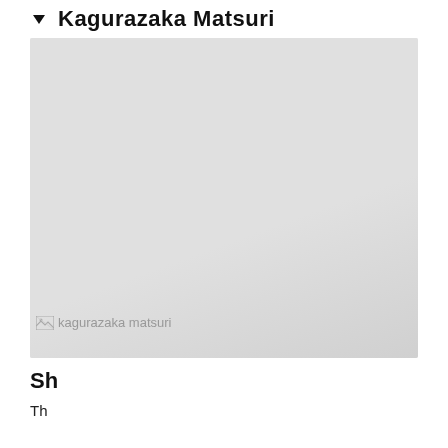Kagurazaka Matsuri
[Figure (photo): Kagurazaka matsuri festival photo (broken/unloaded image placeholder with alt text 'kagurazaka matsuri')]
Sh
Th